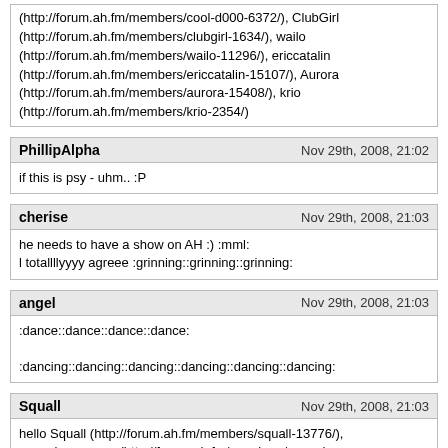(http://forum.ah.fm/members/cool-d000-6372/), ClubGirl (http://forum.ah.fm/members/clubgirl-1634/), wailo (http://forum.ah.fm/members/wailo-11296/), ericcatalin (http://forum.ah.fm/members/ericcatalin-15107/), Aurora (http://forum.ah.fm/members/aurora-15408/), krio (http://forum.ah.fm/members/krio-2354/)
PhillipAlpha — Nov 29th, 2008, 21:02
if this is psy - uhm.. :P
cherise — Nov 29th, 2008, 21:03
he needs to have a show on AH :) :mml:
l totallllyyyy agreee :grinning::grinning::grinning:
angel — Nov 29th, 2008, 21:03
:dance::dance::dance::dance:
:dancing::dancing::dancing::dancing::dancing::dancing:
Squall — Nov 29th, 2008, 21:03
hello Squall (http://forum.ah.fm/members/squall-13776/), apocalypse_now (http://forum.ah.fm/members/apocalypse_now-13335/), Diane (http://forum.ah.fm/members/diane-7389/), Sypher (http://forum.ah.fm/members/sypher-9935/), cherise (http://forum.ah.fm/members/cherise-11449/), a'ndY (http://forum.ah.fm/members/a-ndy-8007/), piccoli (http://forum.ah.fm/members/piccoli-2292/), Faustus (http://forum.ah.fm/members/faustus-10932/), projectg (http://forum.ah.fm/members/projectg-14953/), Darlene (http://forum.ah.fm/members/darlene-3866/), Altered-Mind